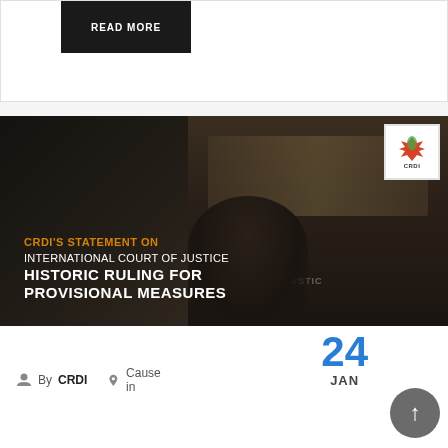[Figure (screenshot): Dark button with 'READ MORE' text in white capital letters on black background]
[Figure (photo): CRDI article card showing International Court of Justice judges in formal robes at a hearing, with text overlay. Logo in top right corner. Dark/moody atmosphere.]
CRDI'S STATEMENT ON INTERNATIONAL COURT OF JUSTICE HISTORIC RULING FOR PROVISIONAL MEASURES
By CRDI
Cause in
24 JAN